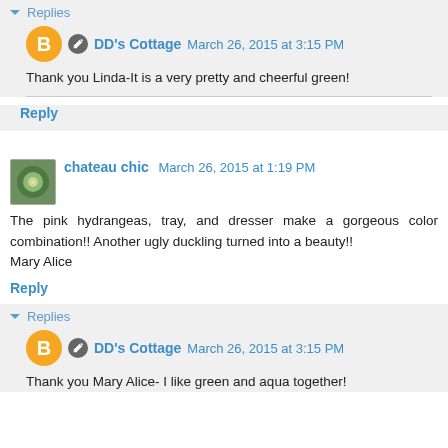▾ Replies
DD's Cottage  March 26, 2015 at 3:15 PM
Thank you Linda-It is a very pretty and cheerful green!
Reply
chateau chic  March 26, 2015 at 1:19 PM
The pink hydrangeas, tray, and dresser make a gorgeous color combination!! Another ugly duckling turned into a beauty!!
Mary Alice
Reply
▾ Replies
DD's Cottage  March 26, 2015 at 3:15 PM
Thank you Mary Alice- I like green and aqua together!